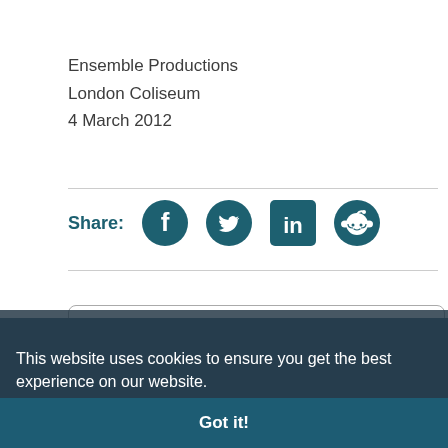Ensemble Productions
London Coliseum
4 March 2012
Share:
[Figure (infographic): Social share bar with Facebook, Twitter, LinkedIn, and Reddit icons in teal/dark color]
[Figure (screenshot): Cookie consent banner overlay with text: This website uses cookies to ensure you get the best experience on our website. Learn more. Got it! button.]